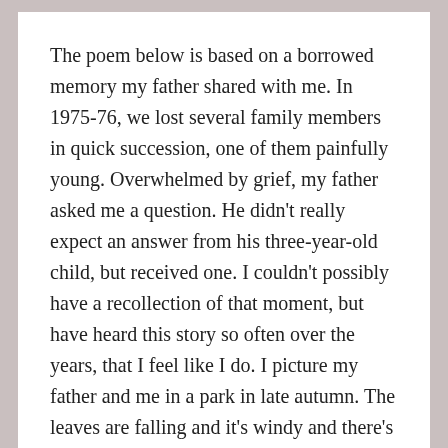The poem below is based on a borrowed memory my father shared with me. In 1975-76, we lost several family members in quick succession, one of them painfully young. Overwhelmed by grief, my father asked me a question. He didn't really expect an answer from his three-year-old child, but received one. I couldn't possibly have a recollection of that moment, but have heard this story so often over the years, that I feel like I do. I picture my father and me in a park in late autumn. The leaves are falling and it's windy and there's this frenetic dance in the air around us. My father bends down to make sure my ears are covered. His eyes are sad. He asks me a question—and I answer.